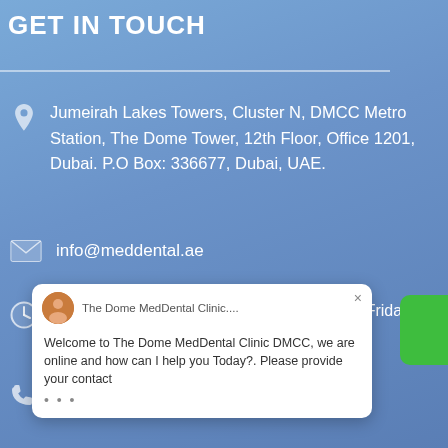GET IN TOUCH
Jumeirah Lakes Towers, Cluster N, DMCC Metro Station, The Dome Tower, 12th Floor, Office 1201, Dubai. P.O Box: 336677, Dubai, UAE.
info@meddental.ae
Saturday to Thursday: 08:00 am - 10:00 pm Friday + Public Holidays: 12:00 pm - 09:00 pm
+971 4 3999 772   +971 555 811 258
[Figure (screenshot): Chat popup from The Dome MedDental Clinic showing welcome message: 'Welcome to The Dome MedDental Clinic DMCC, we are online and how can I help you Today?. Please provide your contact']